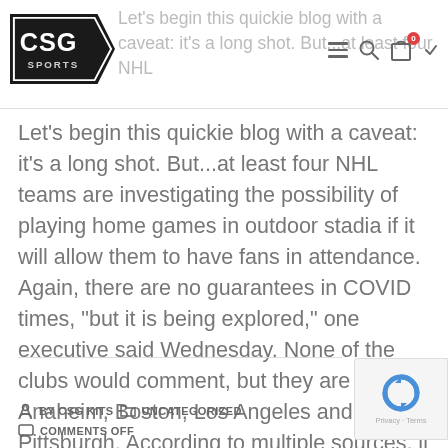CSG Sports logo | hamburger menu | search | cart (0)
Let's begin this quickie blog with a caveat: it's a long shot. But...at least four NHL teams are investigating the possibility of playing home games in outdoor stadia if it will allow them to have fans in attendance. Again, there are no guarantees in COVID times, “but it is being explored,” one executive said Wednesday. None of the clubs would comment, but they are Anaheim, Boston, Los Angeles and Pittsburgh. According to multiple sources, it was the Kings who first considered the...
BY CSG KITS   UNCATEGORIZED   COMMENTS OFF